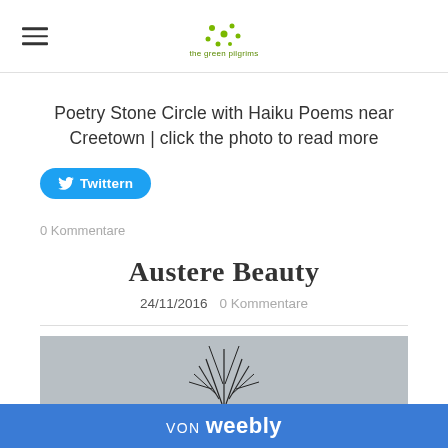the green pilgrims
Poetry Stone Circle with Haiku Poems near Creetown | click the photo to read more
Twittern
0 Kommentare
Austere Beauty
24/11/2016  0 Kommentare
[Figure (photo): Partial outdoor nature photo showing plant or grass against grey sky, cropped]
von weebly